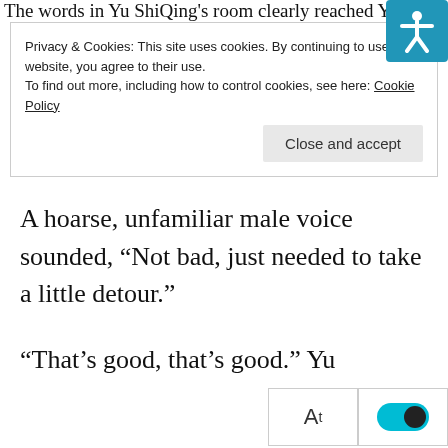The words in Yu ShiQing's room clearly reached Y...
Privacy & Cookies: This site uses cookies. By continuing to use this website, you agree to their use.
To find out more, including how to control cookies, see here: Cookie Policy
A hoarse, unfamiliar male voice sounded, “Not bad, just needed to take a little detour.”
“That’s good, that’s good.” Yu ShiQing replied.
Yu Chu’s body didn’t move but he slowly moved his head outward. The third floor window was open, and he could see most of the interior scene through the upper edge.